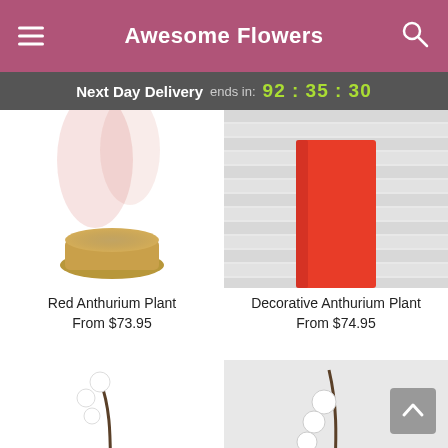Awesome Flowers
Next Day Delivery ends in: 92 : 35 : 30
[Figure (photo): Red Anthurium Plant in a gold/bronze pot, top portion visible]
[Figure (photo): Decorative Anthurium Plant with red/orange container against white horizontal slatted backdrop]
Red Anthurium Plant
From $73.95
Decorative Anthurium Plant
From $74.95
[Figure (photo): White orchid plant in a teal/iridescent pot with green leaves]
[Figure (photo): White orchid plant in a brown/terracotta square pot against light gray background]